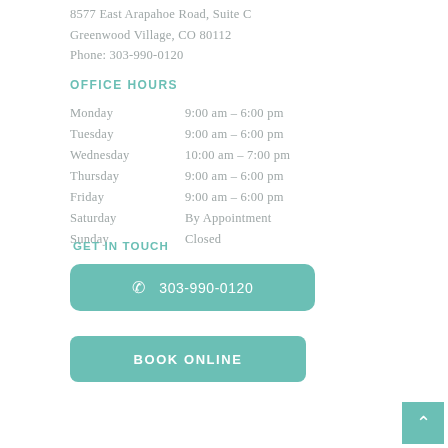8577 East Arapahoe Road, Suite C
Greenwood Village, CO 80112
Phone: 303-990-0120
OFFICE HOURS
Monday        9:00 am – 6:00 pm
Tuesday        9:00 am – 6:00 pm
Wednesday   10:00 am – 7:00 pm
Thursday       9:00 am – 6:00 pm
Friday            9:00 am – 6:00 pm
Saturday        By Appointment
Sunday          Closed
GET IN TOUCH
303-990-0120
BOOK ONLINE